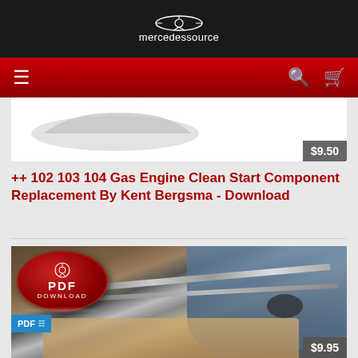mercedessource
[Figure (screenshot): Mercedessource website header with dark background, Mercedes-Benz star logo, site name 'mercedessource', red navigation bar with hamburger menu, search icon, and cart icon]
[Figure (photo): Partial product card with gray car silhouette and price badge showing $9.50]
++ 102 103 104 Gas Engine Clean Start Component Replacement By Kent Bergsma - Download
[Figure (photo): Product image showing PDF download badge (circular red button with Mercedes star, PDF DOWNLOAD text) overlaid on photo of mechanic working on Mercedes engine bay. Small blue PDF badge in bottom left corner. Price badge showing $9.95 in bottom right.]